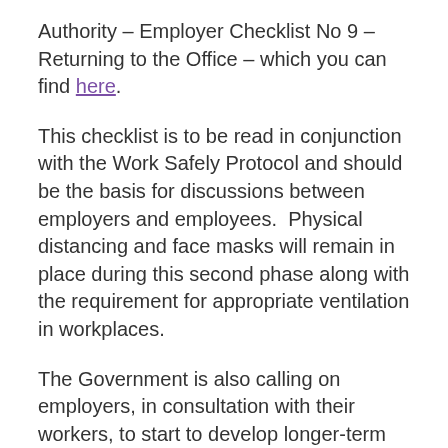Authority – Employer Checklist No 9 – Returning to the Office – which you can find here.
This checklist is to be read in conjunction with the Work Safely Protocol and should be the basis for discussions between employers and employees.  Physical distancing and face masks will remain in place during this second phase along with the requirement for appropriate ventilation in workplaces.
The Government is also calling on employers, in consultation with their workers, to start to develop longer-term arrangements for blended or remote working having regard to their operational requirements.  Our Employment Team is currently assisting and advising a large